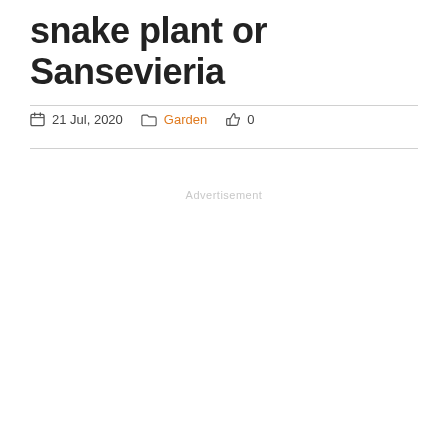snake plant or Sansevieria
21 Jul, 2020  Garden  0
Advertisement